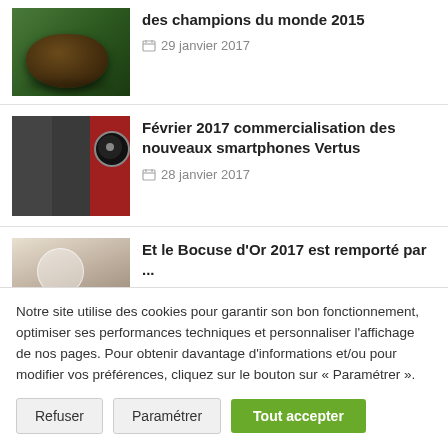[Figure (photo): Green and dark glazed pastry/cake on a plate]
des champions du monde 2015
29 janvier 2017
[Figure (photo): Luxury smartphones Vertu displayed side by side]
Février 2017 commercialisation des nouveaux smartphones Vertus
28 janvier 2017
[Figure (photo): Bocuse d'Or 2017 culinary competition]
Et le Bocuse d'Or 2017 est remporté par ...
25 janvier 2017
Notre site utilise des cookies pour garantir son bon fonctionnement, optimiser ses performances techniques et personnaliser l'affichage de nos pages. Pour obtenir davantage d'informations et/ou pour modifier vos préférences, cliquez sur le bouton sur « Paramétrer ».